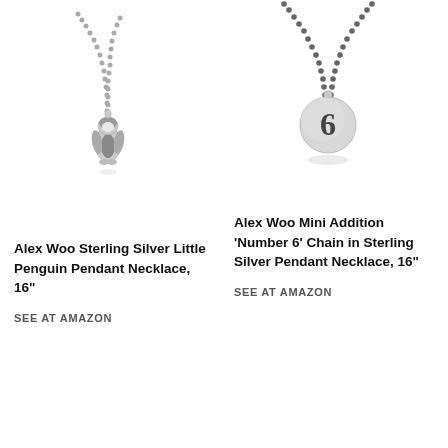[Figure (photo): Alex Woo Sterling Silver Little Penguin Pendant Necklace on a ball chain, product photo on white background]
Alex Woo Sterling Silver Little Penguin Pendant Necklace, 16"
SEE AT AMAZON
[Figure (photo): Alex Woo Mini Addition 'Number 6' Chain in Sterling Silver Pendant Necklace, product photo on white background]
Alex Woo Mini Addition ‘Number 6’ Chain in Sterling Silver Pendant Necklace, 16"
SEE AT AMAZON